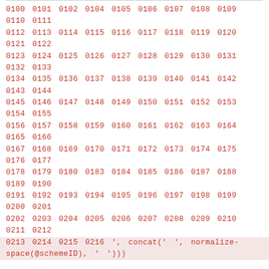0100 0101 0102 0104 0105 0106 0107 0108 0109 0110 0111 0112 0113 0114 0115 0116 0117 0118 0119 0120 0121 0122 0123 0124 0125 0126 0127 0128 0129 0130 0131 0132 0133 0134 0135 0136 0137 0138 0139 0140 0141 0142 0143 0144 0145 0146 0147 0148 0149 0150 0151 0152 0153 0154 0155 0156 0157 0158 0159 0160 0161 0162 0163 0164 0165 0166 0167 0168 0169 0170 0171 0172 0173 0174 0175 0176 0177 0178 0179 0180 0183 0184 0185 0186 0187 0188 0189 0190 0191 0192 0193 0194 0195 0196 0197 0198 0199 0200 0201 0202 0203 0204 0205 0206 0207 0208 0209 0210 0211 0212 0213 0214 0215 0216 ', concat(' ', normalize-space(@schemeID), ' ')))
Usage
/ ubl:Invoice / cac:InvoiceLine / cac:Item / cac:StandardItemIdentification / cbc:ID
/ ubl:CreditNote / cac:CreditNoteLine / cac:Item / cac:StandardItemIdentification / cbc:ID